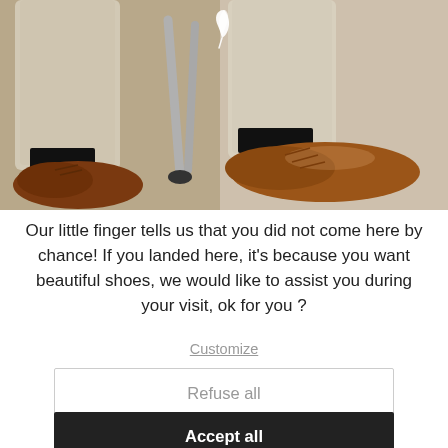[Figure (photo): Photo of a person wearing beige/khaki trousers and brown leather oxford/derby shoes with black socks, sitting on a stool. A stylized white leaf/feather logo is visible centered at the top of the image.]
Our little finger tells us that you did not come here by chance! If you landed here, it's because you want beautiful shoes, we would like to assist you during your visit, ok for you ?
Customize
Refuse all
Accept all